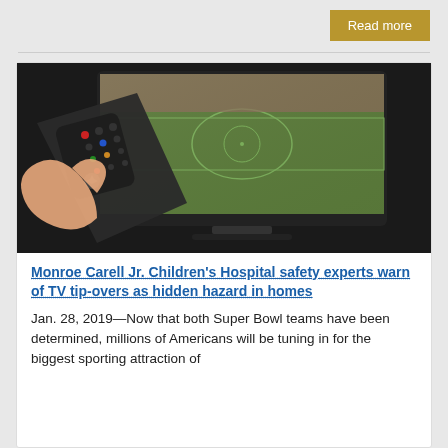Read more
[Figure (photo): A hand holding a TV remote control pointed at a flat-screen TV displaying a sports stadium/soccer field.]
Monroe Carell Jr. Children's Hospital safety experts warn of TV tip-overs as hidden hazard in homes
Jan. 28, 2019—Now that both Super Bowl teams have been determined, millions of Americans will be tuning in for the biggest sporting attraction of